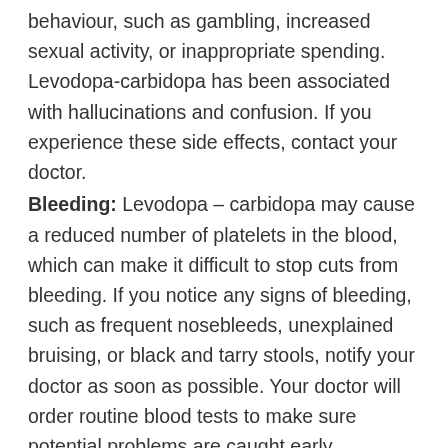behaviour, such as gambling, increased sexual activity, or inappropriate spending. Levodopa-carbidopa has been associated with hallucinations and confusion. If you experience these side effects, contact your doctor.
Bleeding: Levodopa – carbidopa may cause a reduced number of platelets in the blood, which can make it difficult to stop cuts from bleeding. If you notice any signs of bleeding, such as frequent nosebleeds, unexplained bruising, or black and tarry stools, notify your doctor as soon as possible. Your doctor will order routine blood tests to make sure potential problems are caught early.
Depression: This medication has been known to cause mood swings and symptoms of depression. If you have depression or a history of depression, discuss with your doctor how this medication may affect your medical condition, how your medical condition may affect the dosing and effectiveness of